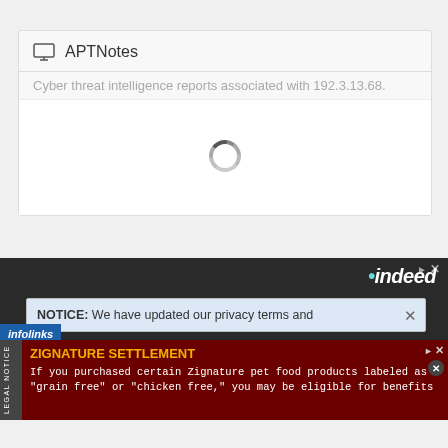APTNotes
Cyber threat intelligence reports associated with 192.3.13.68.
[Figure (other): Circular loading spinner icon (grey segmented circle indicating loading state)]
▷ ✕
indeed
NOTICE: We have updated our privacy terms and
infolinks
ZIGNATURE SETTLEMENT
If you purchased certain Zignature pet food products labeled as "grain free" or "chicken free," you may be eligible for benefits
LEGAL NOTICE